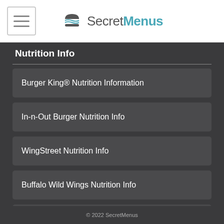SecretMenus
Nutrition Info
Burger King® Nutrition Information
In-n-Out Burger Nutrition Info
WingStreet Nutrition Info
Buffalo Wild Wings Nutrition Info
McDonald's Nutrition Info
© 2022 SecretMenus